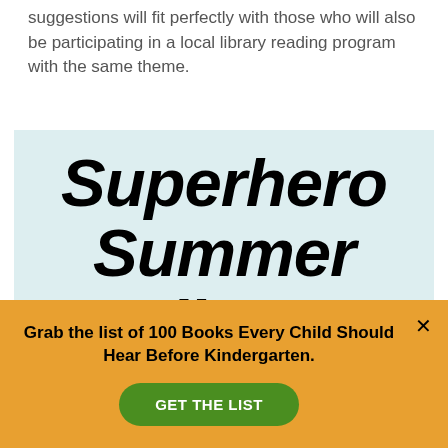suggestions will fit perfectly with those who will also be participating in a local library reading program with the same theme.
[Figure (illustration): Light blue banner with bold italic black text reading 'Superhero Summer Reading Fun' in large comic-style font]
Grab the list of 100 Books Every Child Should Hear Before Kindergarten.
GET THE LIST